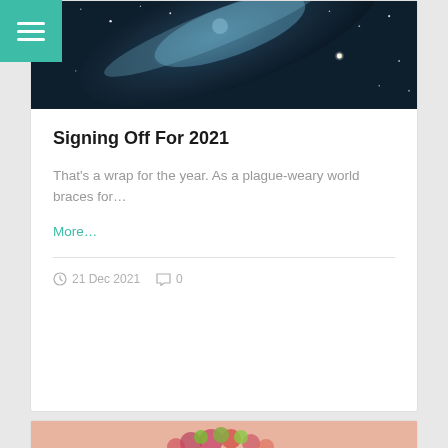[Figure (photo): Galaxy/space photograph showing a spiral galaxy with stars on dark background]
Signing Off For 2021
That's a wrap for the year. As a plague-weary world braces for…
More…
21 Dec 2021   0
[Figure (photo): Floral/virus illustration on pink background — partially visible at bottom]